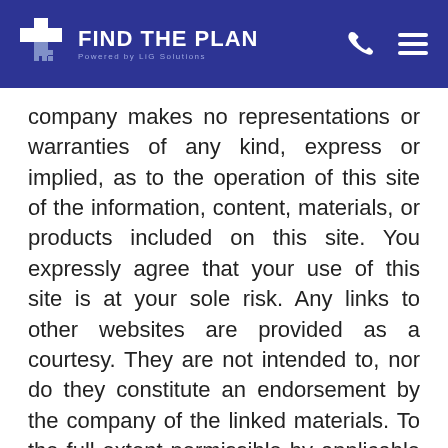FIND THE PLAN Powered by LiG Solutions
company makes no representations or warranties of any kind, express or implied, as to the operation of this site of the information, content, materials, or products included on this site. You expressly agree that your use of this site is at your sole risk. Any links to other websites are provided as a courtesy. They are not intended to, nor do they constitute an endorsement by the company of the linked materials. To the full extent permissible by applicable law, the company disclaims all warranties, express or implied, including, but not limited to, implied warranties of merchantability and fitness for